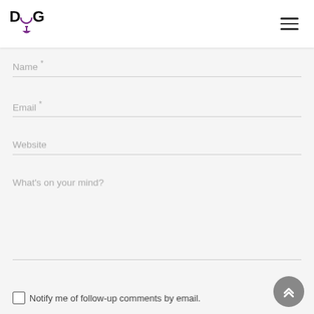DIG logo and navigation hamburger menu
Name *
Email *
Website
What's on your mind?
Notify me of follow-up comments by email.